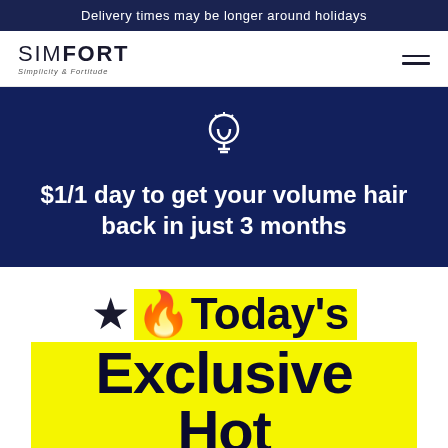Delivery times may be longer around holidays
[Figure (logo): SIMFORT logo with tagline 'Simplicity & Fortitude']
$1/1 day to get your volume hair back in just 3 months
★ 🔥Today's Exclusive Hot